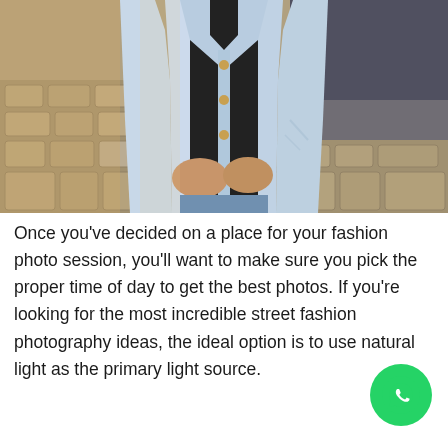[Figure (photo): A person wearing a light blue denim jacket and distressed jeans, standing on a cobblestone street. The photo is cropped to show the torso and hands.]
Once you've decided on a place for your fashion photo session, you'll want to make sure you pick the proper time of day to get the best photos. If you're looking for the most incredible street fashion photography ideas, the ideal option is to use natural light as the primary light source.